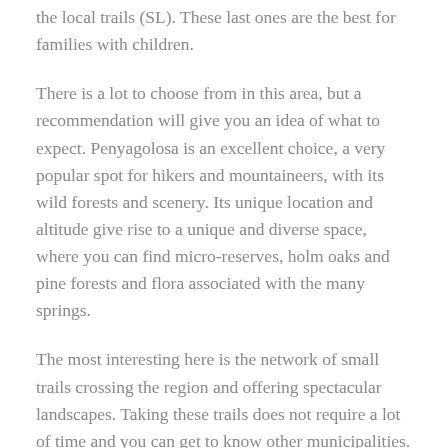the local trails (SL). These last ones are the best for families with children.
There is a lot to choose from in this area, but a recommendation will give you an idea of what to expect. Penyagolosa is an excellent choice, a very popular spot for hikers and mountaineers, with its wild forests and scenery. Its unique location and altitude give rise to a unique and diverse space, where you can find micro-reserves, holm oaks and pine forests and flora associated with the many springs.
The most interesting here is the network of small trails crossing the region and offering spectacular landscapes. Taking these trails does not require a lot of time and you can get to know other municipalities. Some of the trails follow the path of one of the many pilgrimages which end or have a rest here in Penyagolosa.